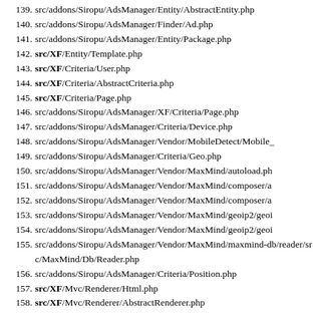139. src/addons/Siropu/AdsManager/Entity/AbstractEntity.php
140. src/addons/Siropu/AdsManager/Finder/Ad.php
141. src/addons/Siropu/AdsManager/Entity/Package.php
142. src/XF/Entity/Template.php
143. src/XF/Criteria/User.php
144. src/XF/Criteria/AbstractCriteria.php
145. src/XF/Criteria/Page.php
146. src/addons/Siropu/AdsManager/XF/Criteria/Page.php
147. src/addons/Siropu/AdsManager/Criteria/Device.php
148. src/addons/Siropu/AdsManager/Vendor/MobileDetect/Mobile_
149. src/addons/Siropu/AdsManager/Criteria/Geo.php
150. src/addons/Siropu/AdsManager/Vendor/MaxMind/autoload.ph
151. src/addons/Siropu/AdsManager/Vendor/MaxMind/composer/a
152. src/addons/Siropu/AdsManager/Vendor/MaxMind/composer/a
153. src/addons/Siropu/AdsManager/Vendor/MaxMind/geoip2/geoi
154. src/addons/Siropu/AdsManager/Vendor/MaxMind/geoip2/geoi
155. src/addons/Siropu/AdsManager/Vendor/MaxMind/maxmind-db/reader/src/MaxMind/Db/Reader.php
156. src/addons/Siropu/AdsManager/Criteria/Position.php
157. src/XF/Mvc/Renderer/Html.php
158. src/XF/Mvc/Renderer/AbstractRenderer.php
159. src/XF/Mvc/View.php
160. src/XF/Template/Template.php
161. internal_data/code_cache/templates/l1/s14/public/reaction_list
162. src/XF/PreEscaped.php
163. src/XF/Phrase.php